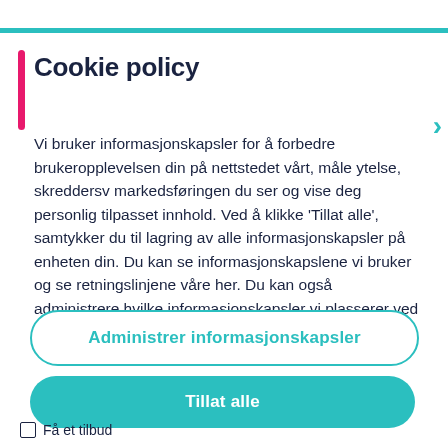Cookie policy
Vi bruker informasjonskapsler for å forbedre brukeropplevelsen din på nettstedet vårt, måle ytelse, skreddersv markedsføringen du ser og vise deg personlig tilpasset innhold. Ved å klikke 'Tillat alle', samtykker du til lagring av alle informasjonskapsler på enheten din. Du kan se informasjonskapslene vi bruker og se retningslinjene våre her. Du kan også administrere hvilke informasjonskapsler vi plasserer ved å klikke på "administrer informasjonskapsler"
Administrer informasjonskapsler
Tillat alle
Få et tilbud